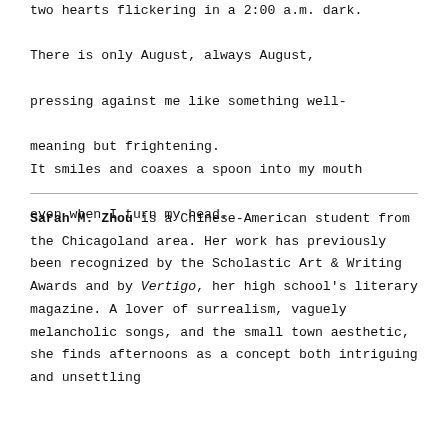two hearts flickering in a 2:00 a.m. dark.
There is only August, always August,
pressing against me like something well-
meaning but frightening.
It smiles and coaxes a spoon into my mouth
even when I turn my head.
Sarah M. Zhou is a Chinese-American student from the Chicagoland area. Her work has previously been recognized by the Scholastic Art & Writing Awards and by Vertigo, her high school's literary magazine. A lover of surrealism, vaguely melancholic songs, and the small town aesthetic, she finds afternoons as a concept both intriguing and unsettling